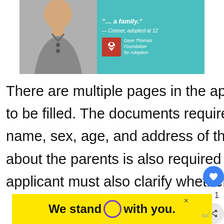[Figure (photo): Advertisement banner for Dave Thomas Foundation for Adoption featuring a teenage boy in a gray polo shirt and teal background with quote text and logo]
There are multiple pages in the application form that is needed to be filled. The documents require information related to the name, sex, age, and address of the applicant. Information about the parents is also required to be filled in, and the applicant must also clarify whether they own...filling
[Figure (infographic): Yellow advertisement banner with text 'We stand O with you.' where O is a purple circle logo]